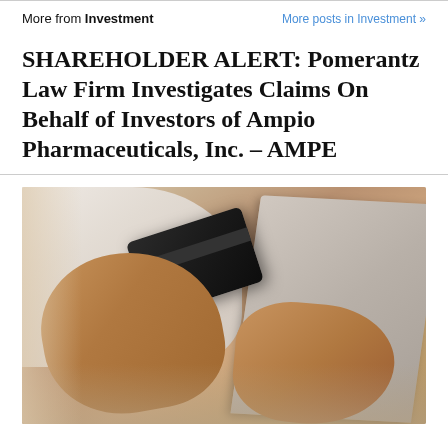More from Investment | More posts in Investment »
SHAREHOLDER ALERT: Pomerantz Law Firm Investigates Claims On Behalf of Investors of Ampio Pharmaceuticals, Inc. – AMPE
[Figure (photo): A person holding a credit card in one hand while typing on a laptop keyboard with the other hand, suggesting online financial transactions or investment activity.]